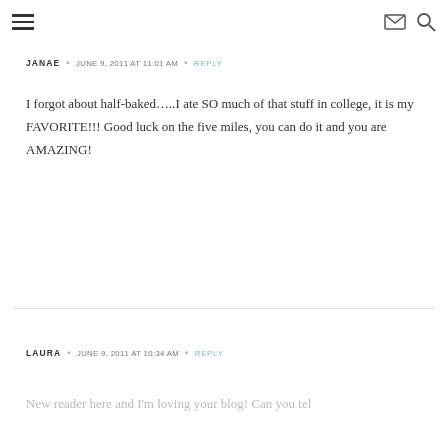Navigation menu, email icon, search icon
JANAE • JUNE 9, 2011 AT 11:01 AM • REPLY
I forgot about half-baked…..I ate SO much of that stuff in college, it is my FAVORITE!!! Good luck on the five miles, you can do it and you are AMAZING!
LAURA • JUNE 9, 2011 AT 10:34 AM • REPLY
New reader here and I'm loving your blog! Can you tel